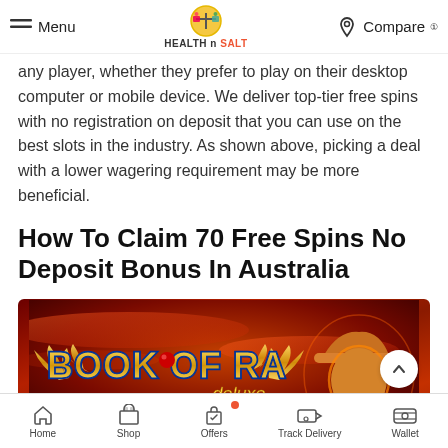Menu | HEALTH n SALT | Compare
any player, whether they prefer to play on their desktop computer or mobile device. We deliver top-tier free spins with no registration on deposit that you can use on the best slots in the industry. As shown above, picking a deal with a lower wagering requirement may be more beneficial.
How To Claim 70 Free Spins No Deposit Bonus In Australia
[Figure (photo): Book of Ra Deluxe slot game banner with golden winged logo and a cowboy character on a fiery red background]
Home | Shop | Offers | Track Delivery | Wallet